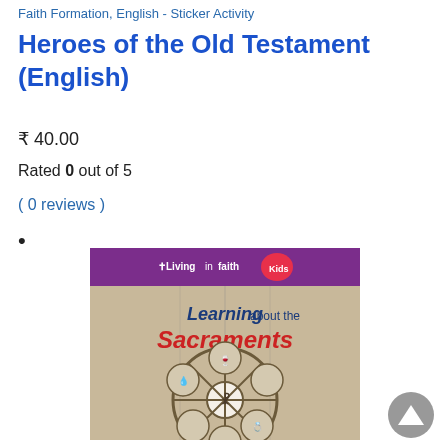Faith Formation, English - Sticker Activity
Heroes of the Old Testament (English)
₹ 40.00
Rated 0 out of 5
( 0 reviews )
[Figure (photo): Book cover: Learning about the Sacraments, Living in Faith Kids series. Purple banner at top with cross logo and 'LivinginFaithKids' text. Title 'Learning about the Sacraments' with colorful illustrated rose window showing sacrament symbols: chalice/host, baptism, candle, wedding rings, bishop, child.]